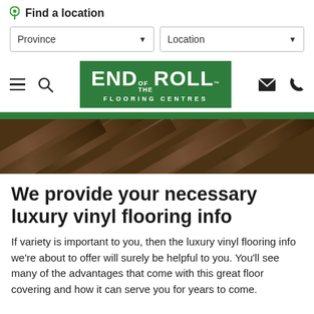Find a location
[Figure (screenshot): Two dropdown selectors labeled 'Province' and 'Location' with dropdown arrows]
[Figure (logo): End of the Roll Flooring Centres logo on green background, with hamburger menu, search, email, and phone icons in navigation bar]
[Figure (photo): Hero image strip showing dark wood-grain luxury vinyl flooring planks in a herringbone pattern]
We provide your necessary luxury vinyl flooring info
If variety is important to you, then the luxury vinyl flooring info we're about to offer will surely be helpful to you. You'll see many of the advantages that come with this great floor covering and how it can serve you for years to come.